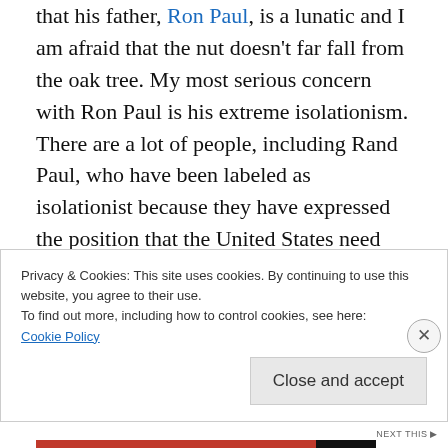that his father, Ron Paul, is a lunatic and I am afraid that the nut doesn't far fall from the oak tree. My most serious concern with Ron Paul is his extreme isolationism. There are a lot of people, including Rand Paul, who have been labeled as isolationist because they have expressed the position that the United States need not get involved in every conflict in the world and should exercise more discretion in intervening in foreign affairs, particularly in matters that do not affect our interests. This is
Privacy & Cookies: This site uses cookies. By continuing to use this website, you agree to their use.
To find out more, including how to control cookies, see here:
Cookie Policy